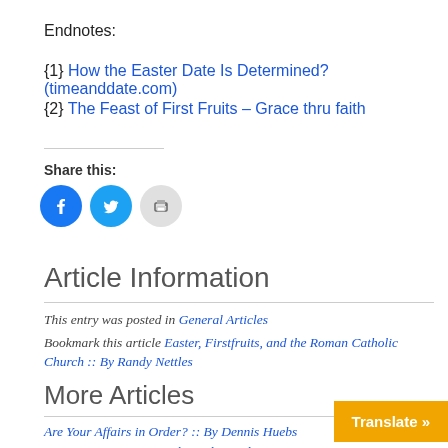Endnotes:
{1} How the Easter Date Is Determined? (timeanddate.com)
{2} The Feast of First Fruits – Grace thru faith
Share this:
[Figure (infographic): Social sharing icons: Facebook (blue circle), Twitter (blue circle), Print (grey circle)]
Article Information
This entry was posted in General Articles
Bookmark this article Easter, Firstfruits, and the Roman Catholic Church :: By Randy Nettles
More Articles
Are Your Affairs in Order? :: By Dennis Huebs… Deuteronomy 34:5-6 – The Holy Stapler :: By…